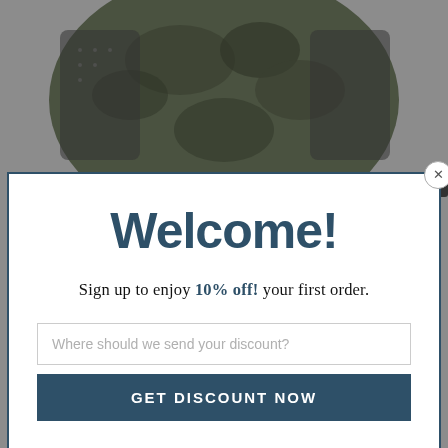[Figure (photo): Background showing a camouflage trucker hat (front/top visible at top, back/brim visible at bottom) on a gray background, with a dark teal bordered modal popup overlaid in the center.]
Welcome!
Sign up to enjoy 10% off! your first order.
Where should we send your discount?
GET DISCOUNT NOW